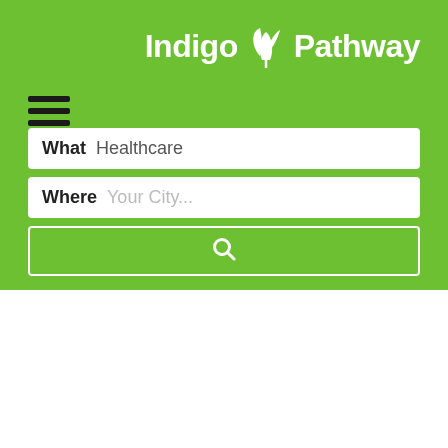[Figure (logo): Indigo Pathway logo with white leaf/plant icon and white text on green background]
[Figure (other): Hamburger menu icon (three horizontal black bars)]
What  Healthcare
Where  Your City...
[Figure (other): Search button with magnifying glass icon]
ASSOCIATION: Association of Schools/Coll
Healthcare
The best way to get into Optometrist is looking into opportunities from this association